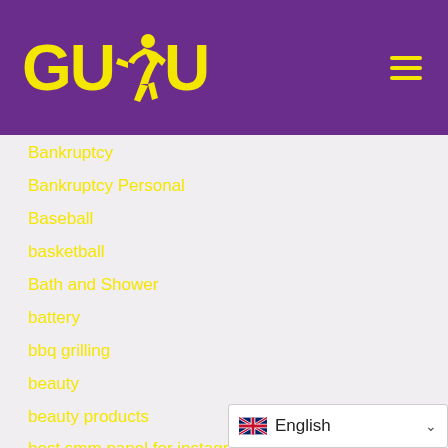[Figure (logo): GUDU logo with runner icon in yellow on purple background, with hamburger menu icon]
Bankruptcy
Bankruptcy Personal
Baseball
basketball
Bath and Shower
battery
bbq grilling
beauty
beauty products
best smm panel for instagram
bet
bet88
Betting
English